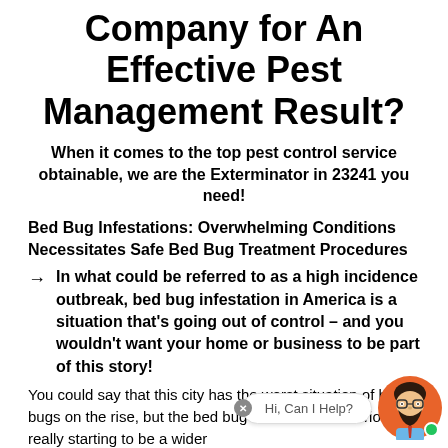Company for An Effective Pest Management Result?
When it comes to the top pest control service obtainable, we are the Exterminator in 23241 you need!
Bed Bug Infestations: Overwhelming Conditions Necessitates Safe Bed Bug Treatment Procedures
→ In what could be referred to as a high incidence outbreak, bed bug infestation in America is a situation that's going out of control – and you wouldn't want your home or business to be part of this story!
You could say that this city has the worst situation of bed bugs on the rise, but the bed bug infestation scenario is really starting to be a wider